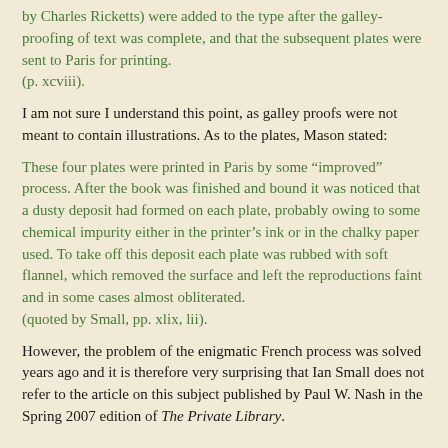by Charles Ricketts) were added to the type after the galley-proofing of text was complete, and that the subsequent plates were sent to Paris for printing.
(p. xcviii).
I am not sure I understand this point, as galley proofs were not meant to contain illustrations. As to the plates, Mason stated:
These four plates were printed in Paris by some "improved" process. After the book was finished and bound it was noticed that a dusty deposit had formed on each plate, probably owing to some chemical impurity either in the printer's ink or in the chalky paper used. To take off this deposit each plate was rubbed with soft flannel, which removed the surface and left the reproductions faint and in some cases almost obliterated.
(quoted by Small, pp. xlix, lii).
However, the problem of the enigmatic French process was solved years ago and it is therefore very surprising that Ian Small does not refer to the article on this subject published by Paul W. Nash in the Spring 2007 edition of The Private Library.